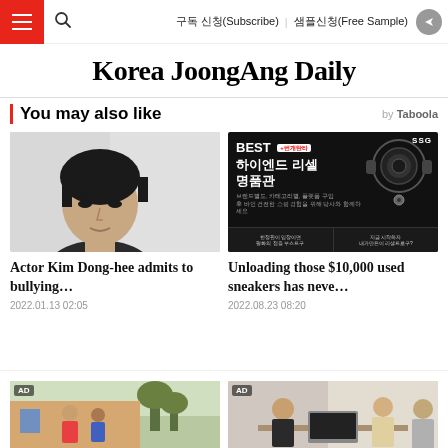Korea JoongAng Daily — 구독 신청(Subscribe) 샘플신청(Free Sample)
Korea JoongAng Daily
You may also like — by Taboola
[Figure (photo): Photo of actor Kim Dong-hee, a young Korean man with dark hair]
[Figure (infographic): Dark advertisement for 하이엔드 리셀 명품관 (BEST high-end resale luxury goods) by SSG, showing luxury items and headphones on black background]
Actor Kim Dong-hee admits to bullying…
2022.01.13 02:05
Unloading those $10,000 used sneakers has neve…
2022.08.23 08:20
[Figure (photo): AD photo showing people outdoors]
[Figure (photo): AD photo showing people in an office setting]